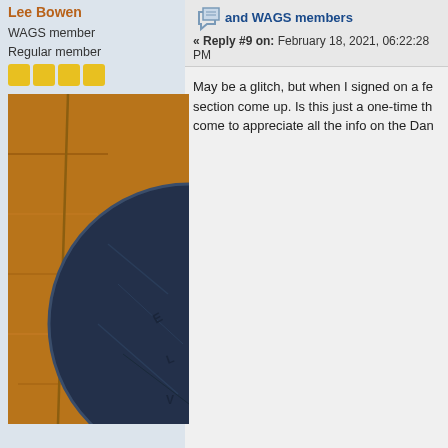Lee Bowen
WAGS member
Regular member
[Figure (photo): Close-up photo of a dark blue/black coin resting on a wooden surface]
and WAGS members
« Reply #9 on: February 18, 2021, 06:22:28 PM
May be a glitch, but when I signed on a fe section come up. Is this just a one-time th come to appreciate all the info on the Dan